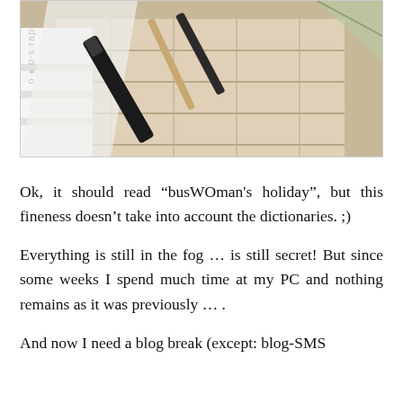[Figure (photo): A photo of makeup brushes and beauty products arranged on white and cream-colored tile surfaces. A black mascara tube and other cosmetic items are visible. A faint watermark reading 'o-s-rapday' appears on the left side.]
Ok, it should read “busWOman's holiday”, but this fineness doesn’t take into account the dictionaries. ;)
Everything is still in the fog … is still secret! But since some weeks I spend much time at my PC and nothing remains as it was previously … .
And now I need a blog break (except: blog-SMS